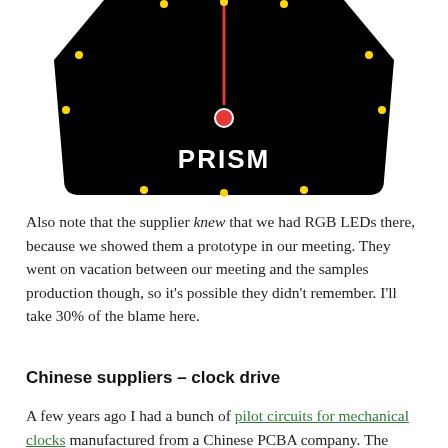[Figure (illustration): A black trapezoid/shield-shaped watch face or device face on white background. It has a red vertical line at the top center, a red filled circle in the middle, small yellow dots around the perimeter, and the word PRISM in white bold text below center.]
Also note that the supplier knew that we had RGB LEDs there, because we showed them a prototype in our meeting. They went on vacation between our meeting and the samples production though, so it's possible they didn't remember. I'll take 30% of the blame here.
Chinese suppliers – clock drive
A few years ago I had a bunch of pilot circuits for mechanical clocks manufactured from a Chinese PCBA company. The